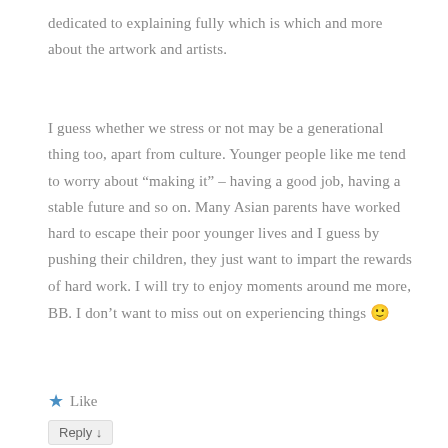dedicated to explaining fully which is which and more about the artwork and artists.
I guess whether we stress or not may be a generational thing too, apart from culture. Younger people like me tend to worry about “making it” – having a good job, having a stable future and so on. Many Asian parents have worked hard to escape their poor younger lives and I guess by pushing their children, they just want to impart the rewards of hard work. I will try to enjoy moments around me more, BB. I don’t want to miss out on experiencing things 🙂
★ Like
Reply ↓